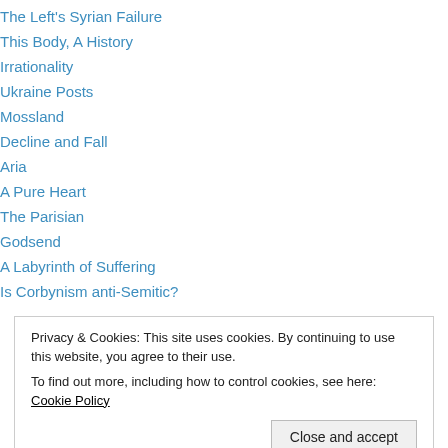The Left's Syrian Failure
This Body, A History
Irrationality
Ukraine Posts
Mossland
Decline and Fall
Aria
A Pure Heart
The Parisian
Godsend
A Labyrinth of Suffering
Is Corbynism anti-Semitic?
Privacy & Cookies: This site uses cookies. By continuing to use this website, you agree to their use. To find out more, including how to control cookies, see here: Cookie Policy
Close and accept
March 2022 (4)